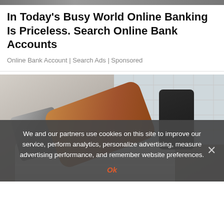[Figure (photo): Top strip showing partial image of people]
In Today's Busy World Online Banking Is Priceless. Search Online Bank Accounts
Online Bank Account | Search Ads | Sponsored
[Figure (photo): A person's hand holding a black device near a chrome bathroom faucet over a white sink, with white tile wall in background]
We and our partners use cookies on this site to improve our service, perform analytics, personalize advertising, measure advertising performance, and remember website preferences.
Ok